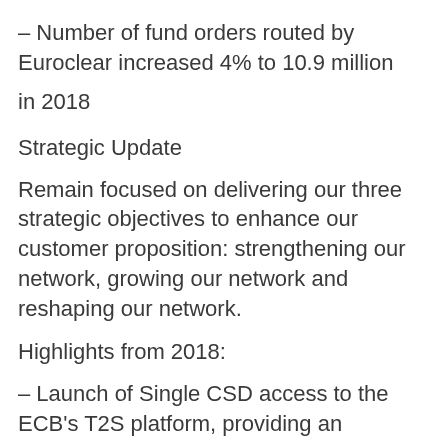– Number of fund orders routed by Euroclear increased 4% to 10.9 million
in 2018
Strategic Update
Remain focused on delivering our three strategic objectives to enhance our customer proposition: strengthening our network, growing our network and reshaping our network.
Highlights from 2018:
– Launch of Single CSD access to the ECB's T2S platform, providing an
efficient gateway to Eurozone liquidity for